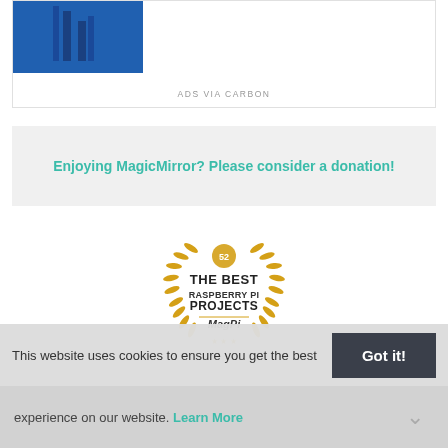[Figure (other): Advertisement banner with blue image on left and 'ADS VIA CARBON' label at bottom]
ADS VIA CARBON
Enjoying MagicMirror? Please consider a donation!
[Figure (logo): The Best Raspberry Pi Projects badge - MagPi magazine award badge with laurel wreath in gold/yellow]
MagicMirror created by Michael Teeuw. Forum managed by Paul-Vincent Roll and Rodrigo Ramírez Norambuena. This forum is using NodeBB as its core | Contributors
Contact | Privacy Policy
This website uses cookies to ensure you get the best
experience on our website. Learn More